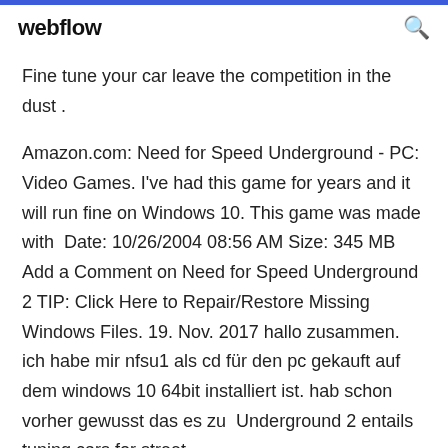webflow
Fine tune your car leave the competition in the dust .
Amazon.com: Need for Speed Underground - PC: Video Games. I've had this game for years and it will run fine on Windows 10. This game was made with  Date: 10/26/2004 08:56 AM Size: 345 MB Add a Comment on Need for Speed Underground 2 TIP: Click Here to Repair/Restore Missing Windows Files. 19. Nov. 2017 hallo zusammen. ich habe mir nfsu1 als cd für den pc gekauft auf dem windows 10 64bit installiert ist. hab schon vorher gewusst das es zu  Underground 2 entails tuning cars for street